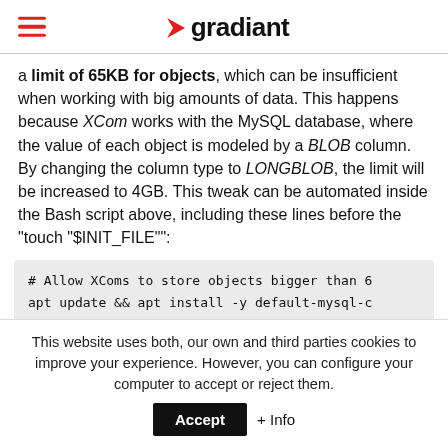gradiant
a limit of 65KB for objects, which can be insufficient when working with big amounts of data. This happens because XCom works with the MySQL database, where the value of each object is modeled by a BLOB column. By changing the column type to LONGBLOB, the limit will be increased to 4GB. This tweak can be automated inside the Bash script above, including these lines before the "touch "$INIT_FILE"":
# Allow XComs to store objects bigger than 6
apt update && apt install -y default-mysql-c
mysql -host airflow-backend -user=root -pass
This website uses both, our own and third parties cookies to improve your experience. However, you can configure your computer to accept or reject them.